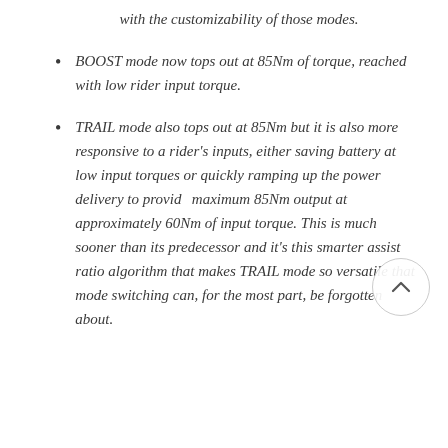with the customizability of those modes.
BOOST mode now tops out at 85Nm of torque, reached with low rider input torque.
TRAIL mode also tops out at 85Nm but it is also more responsive to a rider's inputs, either saving battery at low input torques or quickly ramping up the power delivery to provide maximum 85Nm output at approximately 60Nm of input torque. This is much sooner than its predecessor and it's this smarter assist ratio algorithm that makes TRAIL mode so versatile that mode switching can, for the most part, be forgotten about.